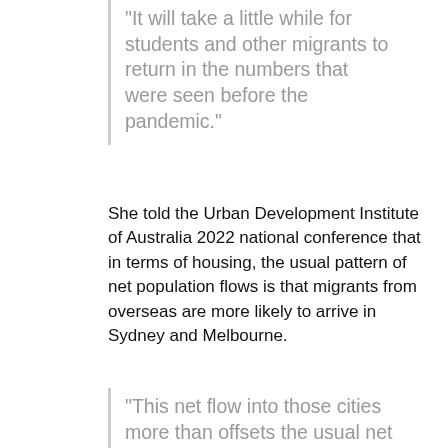“It will take a little while for students and other migrants to return in the numbers that were seen before the pandemic.”
She told the Urban Development Institute of Australia 2022 national conference that in terms of housing, the usual pattern of net population flows is that migrants from overseas are more likely to arrive in Sydney and Melbourne.
“This net flow into those cities more than offsets the usual net outflow of residents to other parts of Australia, especially Queensland,” Dr Ellis said.
However, she said the desire for more space